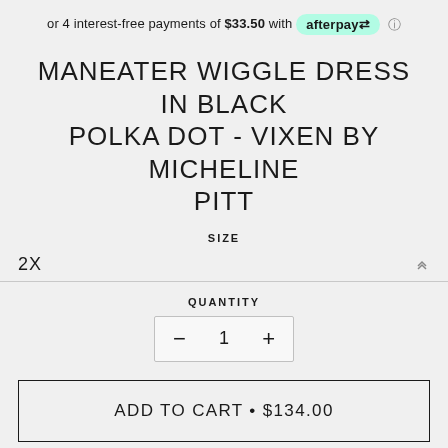or 4 interest-free payments of $33.50 with afterpay ⓘ
MANEATER WIGGLE DRESS IN BLACK POLKA DOT - VIXEN BY MICHELINE PITT
SIZE
2X
QUANTITY
- 1 +
ADD TO CART • $134.00
SHARE   TWEET   PIN